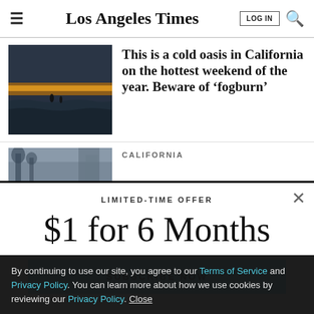Los Angeles Times | LOG IN | Search
[Figure (photo): Coastal beach scene at dusk with birds on shore and orange-yellow sunset on horizon over dark ocean waves]
This is a cold oasis in California on the hottest weekend of the year. Beware of ‘fogburn’
[Figure (photo): Partially visible wintry outdoor scene]
CALIFORNIA
LIMITED-TIME OFFER
$1 for 6 Months
SUBSCRIBE NOW
By continuing to use our site, you agree to our Terms of Service and Privacy Policy. You can learn more about how we use cookies by reviewing our Privacy Policy. Close